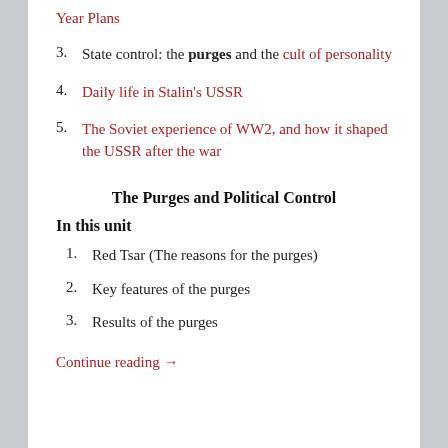Year Plans
3. State control: the purges and the cult of personality
4. Daily life in Stalin's USSR
5. The Soviet experience of WW2, and how it shaped the USSR after the war
The Purges and Political Control
In this unit
1. Red Tsar (The reasons for the purges)
2. Key features of the purges
3. Results of the purges
Continue reading →